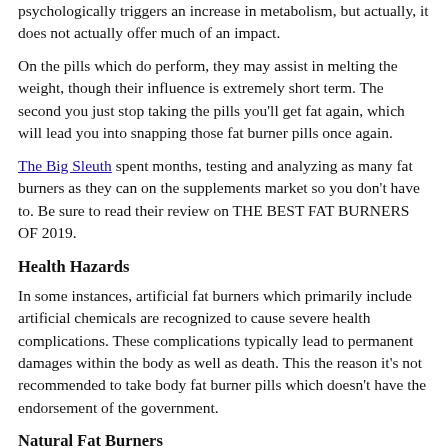psychologically triggers an increase in metabolism, but actually, it does not actually offer much of an impact.
On the pills which do perform, they may assist in melting the weight, though their influence is extremely short term. The second you just stop taking the pills you'll get fat again, which will lead you into snapping those fat burner pills once again.
The Big Sleuth spent months, testing and analyzing as many fat burners as they can on the supplements market so you don't have to. Be sure to read their review on THE BEST FAT BURNERS OF 2019.
Health Hazards
In some instances, artificial fat burners which primarily include artificial chemicals are recognized to cause severe health complications. These complications typically lead to permanent damages within the body as well as death. This the reason it's not recommended to take body fat burner pills which doesn't have the endorsement of the government.
Natural Fat Burners
Natural fat burners are produced from healthy sources like plants and herbs. This is possibly the safest fat burner to test since it